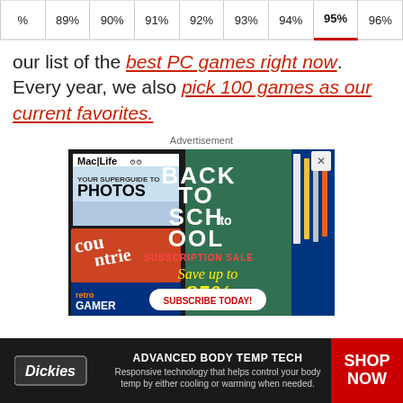% | 89% | 90% | 91% | 92% | 93% | 94% | 95% | 96%
our list of the best PC games right now. Every year, we also pick 100 games as our current favorites.
Advertisement
[Figure (photo): Mac|Life Back to School Subscription Sale advertisement - Save up to 85%, Subscribe Today button, showing magazine covers and school supplies]
[Figure (photo): Dickies Advanced Body Temp Tech advertisement - Responsive technology that helps control your body temp by either cooling or warming when needed. Shop Now button.]